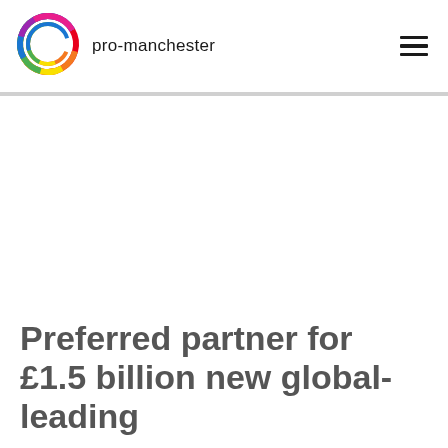pro-manchester
[Figure (logo): pro-manchester circular rainbow logo with overlapping colored rings]
Preferred partner for £1.5 billion new global-leading